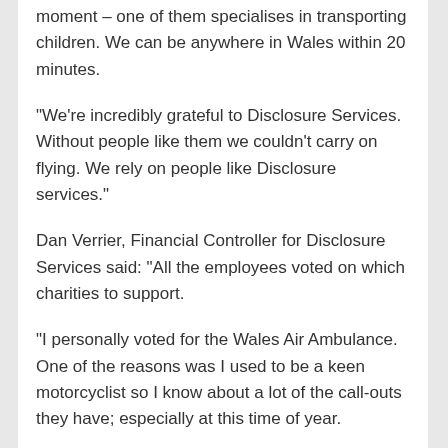moment – one of them specialises in transporting children. We can be anywhere in Wales within 20 minutes.
“We’re incredibly grateful to Disclosure Services. Without people like them we couldn’t carry on flying. We rely on people like Disclosure services.”
Dan Verrier, Financial Controller for Disclosure Services said: “All the employees voted on which charities to support.
“I personally voted for the Wales Air Ambulance. One of the reasons was I used to be a keen motorcyclist so I know about a lot of the call-outs they have; especially at this time of year.
“The Wales Air Ambulance is an important service and